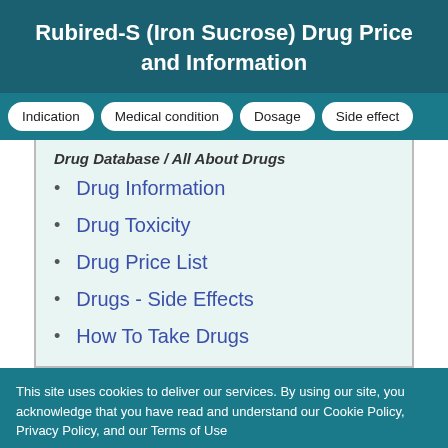Rubired-S (Iron Sucrose) Drug Price and Information
Drug Database / All About Drugs
Drug Information
Drug Toxicity
Drug Price List
Drugs - Side Effects
How To Take Drugs
This site uses cookies to deliver our services. By using our site, you acknowledge that you have read and understand our Cookie Policy, Privacy Policy, and our Terms of Use
OK, I agree | No, give me more info | Close